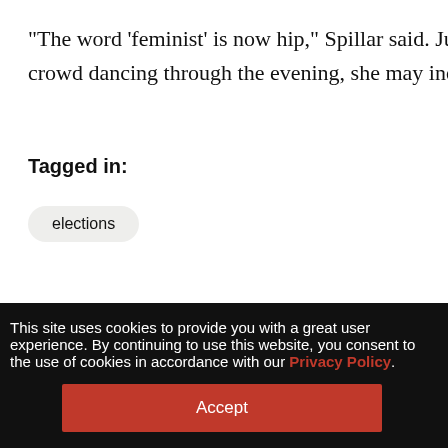“The word ‘feminist’ is now hip,” Spillar said. Judg... crowd dancing through the evening, she may inde...
Tagged in:
elections
[Figure (photo): Partial photo of a woman with dark hair, cropped at the bottom of the page]
This site uses cookies to provide you with a great user experience. By continuing to use this website, you consent to the use of cookies in accordance with our Privacy Policy.
Accept